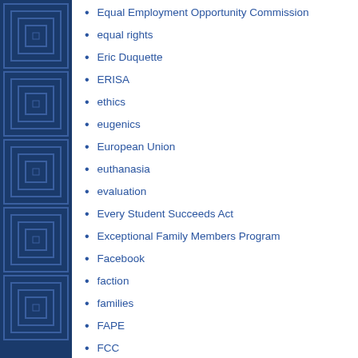Equal Employment Opportunity Commission
equal rights
Eric Duquette
ERISA
ethics
eugenics
European Union
euthanasia
evaluation
Every Student Succeeds Act
Exceptional Family Members Program
Facebook
faction
families
FAPE
FCC
FDA
Federal Trade Commission
federalism
financial planning
firefighters
first responders